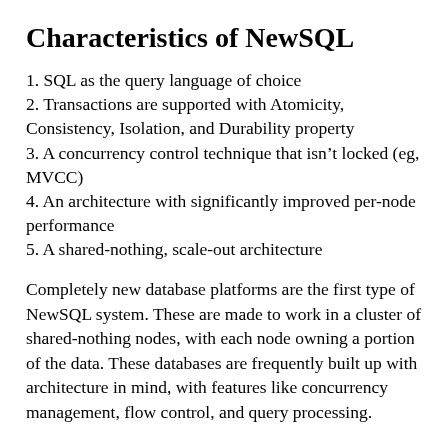Characteristics of NewSQL
1. SQL as the query language of choice
2. Transactions are supported with Atomicity, Consistency, Isolation, and Durability property
3. A concurrency control technique that isn't locked (eg, MVCC)
4. An architecture with significantly improved per-node performance
5. A shared-nothing, scale-out architecture
Completely new database platforms are the first type of NewSQL system. These are made to work in a cluster of shared-nothing nodes, with each node owning a portion of the data. These databases are frequently built up with architecture in mind, with features like concurrency management, flow control, and query processing.